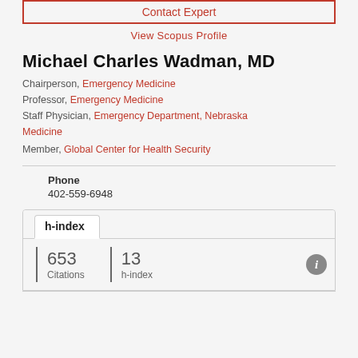Contact Expert
View Scopus Profile
Michael Charles Wadman, MD
Chairperson, Emergency Medicine
Professor, Emergency Medicine
Staff Physician, Emergency Department, Nebraska Medicine
Member, Global Center for Health Security
Phone
402-559-6948
h-index
653 Citations
13 h-index